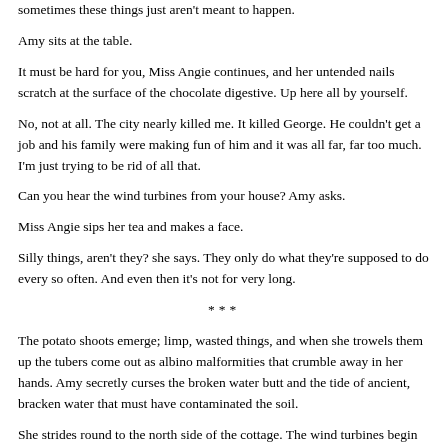sometimes these things just aren't meant to happen.
Amy sits at the table.
It must be hard for you, Miss Angie continues, and her untended nails scratch at the surface of the chocolate digestive. Up here all by yourself.
No, not at all. The city nearly killed me. It killed George. He couldn't get a job and his family were making fun of him and it was all far, far too much. I'm just trying to be rid of all that.
Can you hear the wind turbines from your house? Amy asks.
Miss Angie sips her tea and makes a face.
Silly things, aren't they? she says. They only do what they're supposed to do every so often. And even then it's not for very long.
***
The potato shoots emerge; limp, wasted things, and when she trowels them up the tubers come out as albino malformities that crumble away in her hands. Amy secretly curses the broken water butt and the tide of ancient, bracken water that must have contaminated the soil.
She strides round to the north side of the cottage. The wind turbines begin to spin backwards.
The shock of the change of motion, the ranks of great haloed ghosts saluting her, in a ripple, makes her flinch.